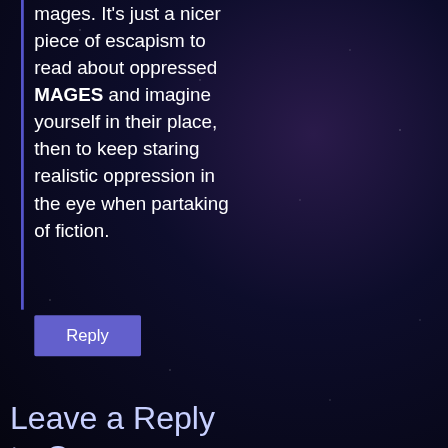mages. It's just a nicer piece of escapism to read about oppressed MAGES and imagine yourself in their place, then to keep staring realistic oppression in the eye when partaking of fiction.
Reply
Leave a Reply to Oren Ashkenazi Cancel reply
1. If you can't say something nice, say something thoughtful.
2. Do not express or promote bigotry.
3. Do not make personal attacks.
Read our full comments policy.
Comment *